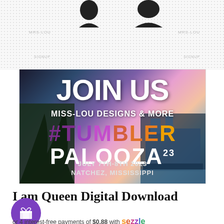[Figure (illustration): Decorative top area with dot pattern background and two silhouette shapes (possibly crowns or heads), with faint text labels on left and right sides]
[Figure (photo): Event promotional image for Tumbler Palooza 23 by Miss-Lou Designs & More. Text reads JOIN US, MISS-LOU DESIGNS & MORE, TUMBLER PALOOZA 23, JULY 7TH-8TH 2023, NATCHEZ, MISSISSIPPI. Background shows a river scene with trees and a riverboat at sunset.]
I am Queen Digital Download
[Figure (illustration): Purple circular gift button icon]
or 4 interest-free payments of $0.88 with sezzle